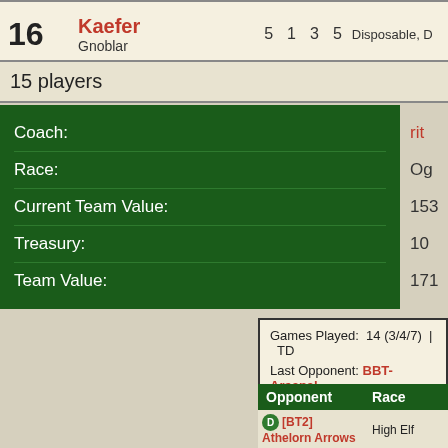| # | Name | Type | Stats | Skills |
| --- | --- | --- | --- | --- |
| 16 | Kaefer | Gnoblar | 5 1 3 5 | Disposable, De... |
15 players
| Field | Value |
| --- | --- |
| Coach: | rit... |
| Race: | Og... |
| Current Team Value: | 153... |
| Treasury: | 10... |
| Team Value: | 171... |
Games Played: 14 (3/4/7) | TD...
Last Opponent: BBT-Arsenal
| Opponent | Race |
| --- | --- |
| [BT2] Athelorn Arrows | High Elf |
| Stygian Abyss | Necromantic Ho... |
| [BBT2]Scourge Exiles | Chaos Dwarf |